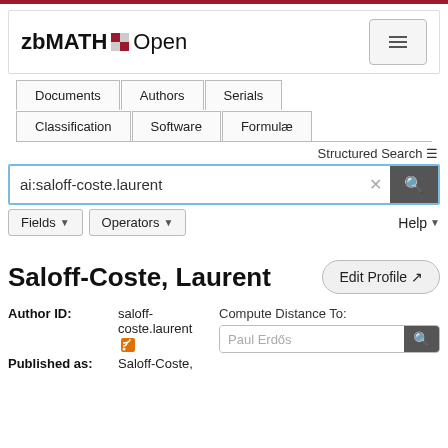[Figure (screenshot): zbMATH Open website header with logo and hamburger menu button]
Documents | Authors | Serials | Classification | Software | Formulæ
Structured Search ≡
ai:saloff-coste.laurent
Fields ▾  Operators ▾  Help ▾
Saloff-Coste, Laurent
Edit Profile ↗
Author ID: saloff-coste.laurent [rss]
Compute Distance To:
Paul Erdős
Published as: Saloff-Coste,